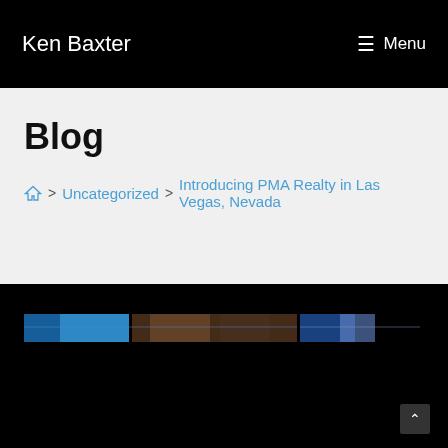Ken Baxter
Menu
Blog
Home > Uncategorized > Introducing PMA Realty in Las Vegas, Nevada
[Figure (photo): Dark content section with a horizontal image strip showing blue and brownish photo thumbnails, and a scroll-to-top button in the bottom right corner]